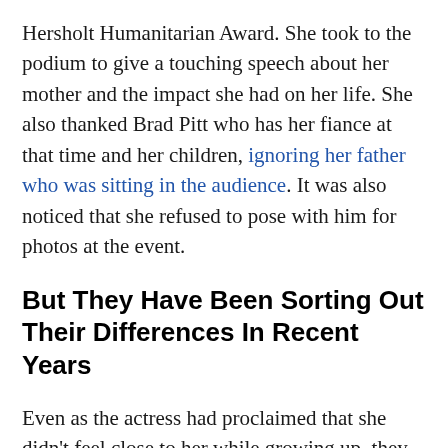Hersholt Humanitarian Award. She took to the podium to give a touching speech about her mother and the impact she had on her life. She also thanked Brad Pitt who has her fiance at that time and her children, ignoring her father who was sitting in the audience. It was also noticed that she refused to pose with him for photos at the event.
But They Have Been Sorting Out Their Differences In Recent Years
Even as the actress had proclaimed that she didn't feel close to her while growing up, they have been trying to work things out and have been on good terms in recent times. Jolie once shared she got into acting to help her mother pay bills. This has been